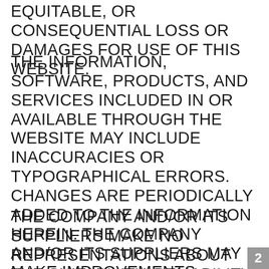EQUITABLE, OR CONSEQUENTIAL LOSS OR DAMAGES FOR USE OF THIS WEBSITE.
THE INFORMATION, SOFTWARE, PRODUCTS, AND SERVICES INCLUDED IN OR AVAILABLE THROUGH THE WEBSITE MAY INCLUDE INACCURACIES OR TYPOGRAPHICAL ERRORS. CHANGES ARE PERIODICALLY ADDED TO THE INFORMATION HEREIN. THE COMPANY AND/OR ITS SUPPLIERS MAY MAKE IMPROVEMENTS AND/OR CHANGES IN THE WEBSITE AT ANY TIME.
THE COMPANY AND/OR ITS SUPPLIERS MAKE NO REPRESENTATIONS ABOUT THE SUITABILITY, RELIABILITY, AVAILABILITY, TIMELINESS, AND ACCURACY OF THE
2